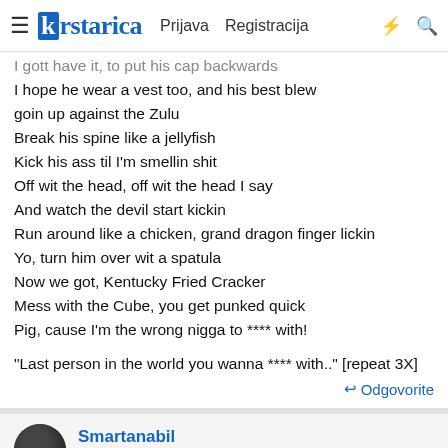krstarica | Prijava | Registracija
I gott have it, to put his cap backwards
I hope he wear a vest too, and his best blew
goin up against the Zulu
Break his spine like a jellyfish
Kick his ass til I'm smellin shit
Off wit the head, off wit the head I say
And watch the devil start kickin
Run around like a chicken, grand dragon finger lickin
Yo, turn him over wit a spatula
Now we got, Kentucky Fried Cracker
Mess with the Cube, you get punked quick
Pig, cause I'm the wrong nigga to **** with!

"Last person in the world you wanna **** with.." [repeat 3X]
Odgovorite
Smartanabil
Buduća legenda Moderator